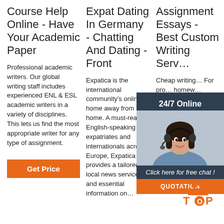Course Help Online - Have Your Academic Paper
Expat Dating In Germany - Chatting And Dating - Front
Assignment Essays - Best Custom Writing Serv…
Professional academic writers. Our global writing staff includes experienced ENL & ESL academic writers in a variety of disciplines. This lets us find the most appropriate writer for any type of assignment.
Expatica is the international community's online home away from home. A must-read for English-speaking expatriates and internationals across Europe, Expatica provides a tailored local news service and essential information on…
Cheap writing… For pro… homew… service… Assignment Essays… place t… Whether you are looking for essay, coursework, research, or ter… paper help, or help with any other…
[Figure (photo): Customer support widget showing a woman with a headset, '24/7 Online' label, 'Click here for free chat!' text, and an orange QUOTATION button]
[Figure (logo): TOP badge logo with orange dots above orange text]
Get Price (orange button)